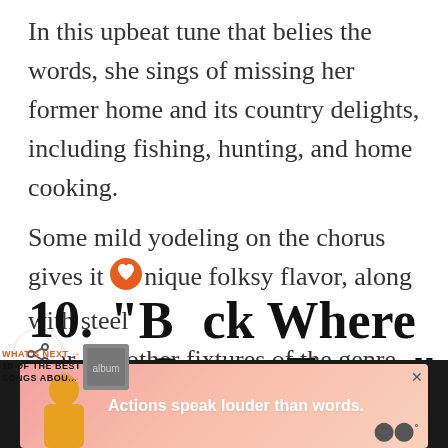In this upbeat tune that belies the words, she sings of missing her former home and its country delights, including fishing, hunting, and home cooking.
Some mild yodeling on the chorus gives it unique folksy flavor, along with steel guitar and other fixtures of the genre.
10. "Back Where I Come From" by Kenny Chesney
[Figure (other): Advertisement banner: person with yellow shirt, pink gradient background, text 'Actions speak louder than words.' with Mastercard logo and close button]